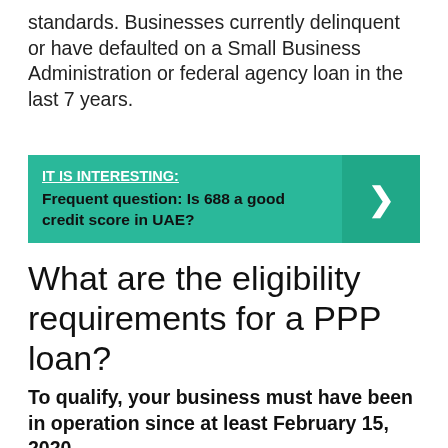standards. Businesses currently delinquent or have defaulted on a Small Business Administration or federal agency loan in the last 7 years.
[Figure (infographic): Teal callout box with heading 'IT IS INTERESTING:' underlined in white, body text 'Frequent question: Is 688 a good credit score in UAE?' in bold black, and a right-arrow chevron on a darker teal panel on the right.]
What are the eligibility requirements for a PPP loan?
To qualify, your business must have been in operation since at least February 15, 2020.